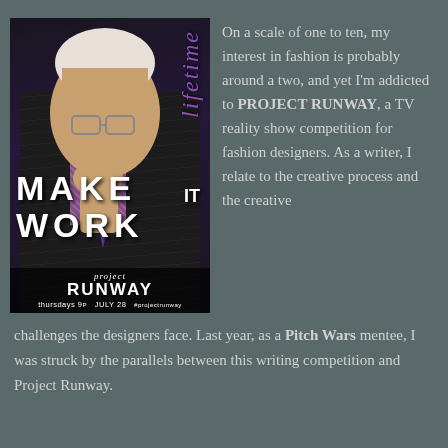[Figure (photo): Promotional poster for Project Runway on Lifetime TV network. Shows a man in a pinstripe suit with checkered shirt and purple tie, resting his chin on his hand. Text on poster reads 'MAKE IT WORK', 'project RUNWAY', 'thursdays 9p', 'JULY 28'. Lifetime logo in cursive purple text on the right side.]
On a scale of one to ten, my interest in fashion is probably around a two, and yet I'm addicted to PROJECT RUNWAY, a TV reality show competition for fashion designers. As a writer, I relate to the creative process and the creative challenges the designers face. Last year, as a Pitch Wars mentee, I was struck by the parallels between this writing competition and Project Runway.